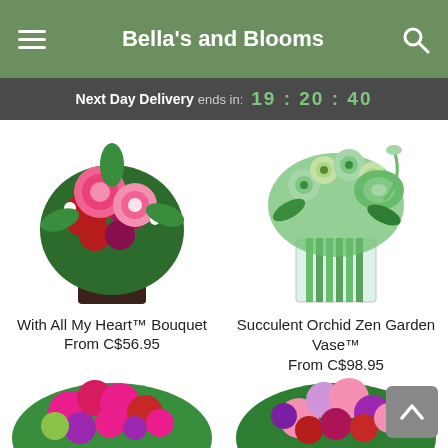Bella's and Blooms
Next Day Delivery ends in: 19 : 20 : 40
[Figure (photo): With All My Heart Bouquet - pink roses and red flowers in a dark square vase]
With All My Heart™ Bouquet
From C$56.95
[Figure (photo): Succulent Orchid Zen Garden Vase - green orchids and succulents in a clear square vase with bamboo]
Succulent Orchid Zen Garden Vase™
From C$98.95
[Figure (photo): Bottom left floral arrangement - pink, purple, red and green mixed flowers bouquet]
[Figure (photo): Bottom right floral arrangement - pink, purple and red mixed flowers bouquet]